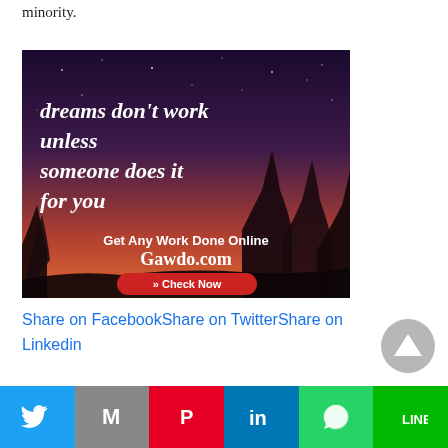minority.
[Figure (illustration): Advertisement image with dark night sky background and silhouetted trees. Text reads: 'dreams don't work unless someone does it for you'. Below: 'Get Any Work Done Online Gawdo.com' with a red 'Check Now' button.]
Share on FacebookShare on TwitterShare on Linkedin
[Figure (other): Circular scroll-to-top button with upward triangle arrow, gray color]
[Figure (other): Row of social media icon buttons: Facebook (blue), Twitter (light blue), share/other (gray), Pinterest (red), another red icon]
[Figure (other): Bottom share bar with icons: Twitter (blue), Gmail (gray), Pinterest (red), LinkedIn (blue), WhatsApp (green), Line (dark green)]